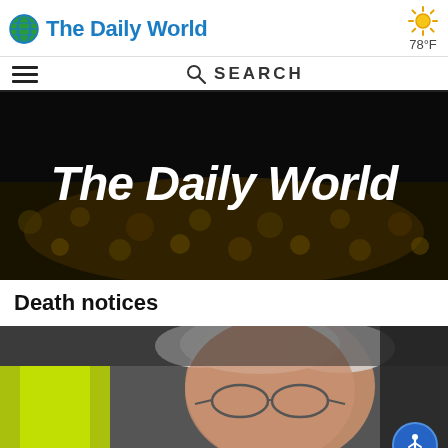The Daily World — 78°F
[Figure (logo): The Daily World logo with globe icon and blue text]
[Figure (photo): The Daily World banner image with crowd in background and large white bold italic title text 'The Daily World']
Death notices
[Figure (photo): Close-up photo of an elderly man with white hair and glasses wearing a yellow high-visibility vest]